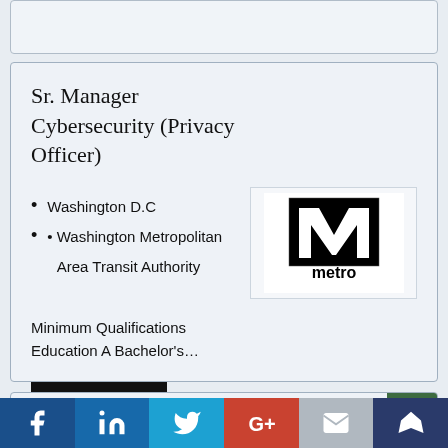Sr. Manager Cybersecurity (Privacy Officer)
Washington D.C
Washington Metropolitan Area Transit Authority
[Figure (logo): Washington Metropolitan Area Transit Authority (WMATA) Metro logo — bold M in black square with 'metro' text below]
Minimum Qualifications Education A Bachelor's…
View details
☆ Save
NEW
[Figure (infographic): Social media sharing bar with Facebook, LinkedIn, Twitter, Google+, Email, and crown/bookmark icons]